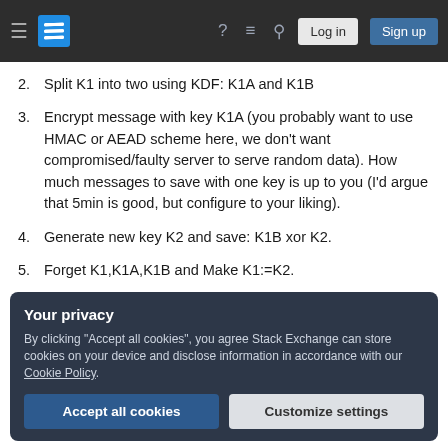Stack Exchange navigation bar with hamburger menu, logo, help, chat, search, Log in, Sign up buttons
2. Split K1 into two using KDF: K1A and K1B
3. Encrypt message with key K1A (you probably want to use HMAC or AEAD scheme here, we don't want compromised/faulty server to serve random data). How much messages to save with one key is up to you (I'd argue that 5min is good, but configure to your liking).
4. Generate new key K2 and save: K1B xor K2.
5. Forget K1,K1A,K1B and Make K1:=K2.
Your privacy — By clicking "Accept all cookies", you agree Stack Exchange can store cookies on your device and disclose information in accordance with our Cookie Policy. [Accept all cookies] [Customize settings]
compromised server at any point and never fully